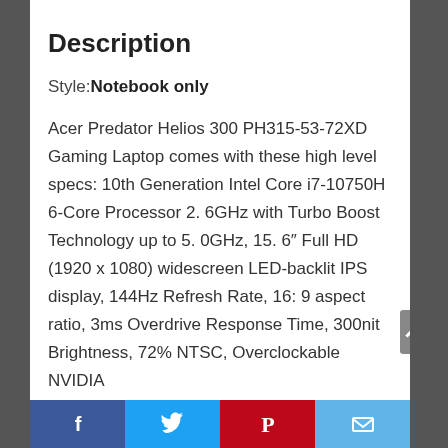Description
Style: Notebook only
Acer Predator Helios 300 PH315-53-72XD Gaming Laptop comes with these high level specs: 10th Generation Intel Core i7-10750H 6-Core Processor 2. 6GHz with Turbo Boost Technology up to 5. 0GHz, 15. 6″ Full HD (1920 x 1080) widescreen LED-backlit IPS display, 144Hz Refresh Rate, 16: 9 aspect ratio, 3ms Overdrive Response Time, 300nit Brightness, 72% NTSC, Overclockable NVIDIA
Facebook | Twitter | Pinterest | Email